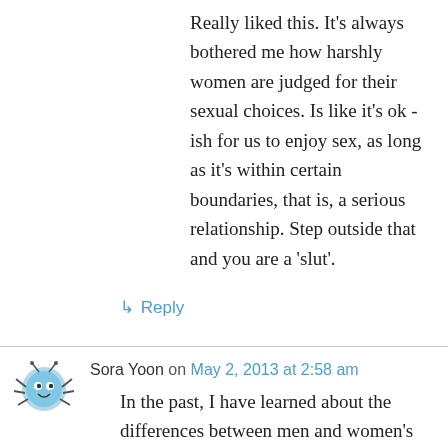Really liked this. It's always bothered me how harshly women are judged for their sexual choices. Is like it's ok -ish for us to enjoy sex, as long as it's within certain boundaries, that is, a serious relationship. Step outside that and you are a ‘slut’.
↳ Reply
Sora Yoon on May 2, 2013 at 2:58 am
In the past, I have learned about the differences between men and women's brains and how they function differently on certain aspects psychologically and biologically. “Women had a wider range of response, with some loving sex, and others feeling uninterested. Generally,